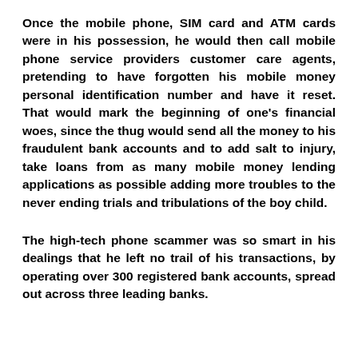Once the mobile phone, SIM card and ATM cards were in his possession, he would then call mobile phone service providers customer care agents, pretending to have forgotten his mobile money personal identification number and have it reset. That would mark the beginning of one's financial woes, since the thug would send all the money to his fraudulent bank accounts and to add salt to injury, take loans from as many mobile money lending applications as possible adding more troubles to the never ending trials and tribulations of the boy child.
The high-tech phone scammer was so smart in his dealings that he left no trail of his transactions, by operating over 300 registered bank accounts, spread out across three leading banks.